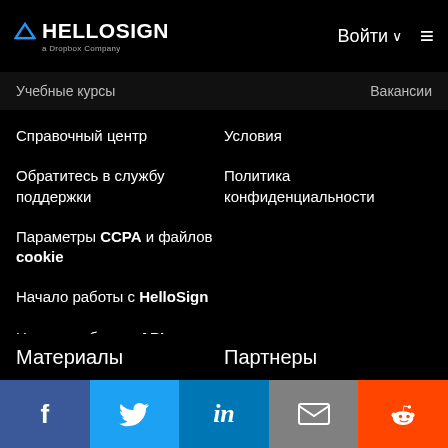HELLOSIGN a Dropbox Company — Войти
Учебные курсы
Вакансии
Справочный центр
Условия
Обратитесь в службу поддержки
Политика конфиденциальности
Параметры CCPA и файлов cookie
Начало работы с HelloSign
Начало работы с API
Начало работы с HelloWorks
Материалы
Партнеры
f  Twitter  in  Email  Reddit